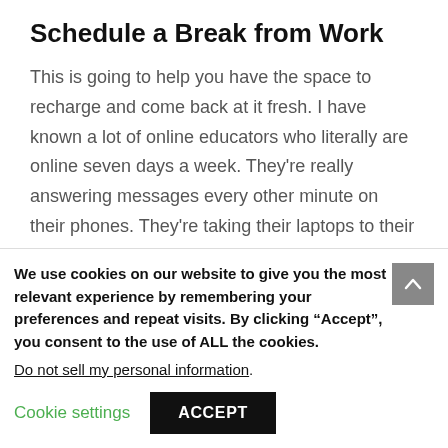Schedule a Break from Work
This is going to help you have the space to recharge and come back at it fresh. I have known a lot of online educators who literally are online seven days a week. They’re really answering messages every other minute on their phones. They’re taking their laptops to their outings with them, and they’re sort of half-present when they’re with family
We use cookies on our website to give you the most relevant experience by remembering your preferences and repeat visits. By clicking “Accept”, you consent to the use of ALL the cookies.
Do not sell my personal information.
Cookie settings   ACCEPT